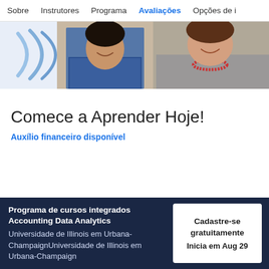Sobre   Instrutores   Programa   Avaliações   Opções de i
[Figure (photo): Two women smiling, one in a blue denim shirt and one in a grey sweater with a red necklace, apparently in a classroom or learning environment. A blue diagonal wave/logo graphic is on the left side.]
Comece a Aprender Hoje!
Auxílio financeiro disponível
Programa de cursos integrados Accounting Data Analytics
Universidade de Illinois em Urbana-ChampaignUniversidade de Illinois em Urbana-Champaign
Cadastre-se gratuitamente
Inicia em Aug 29